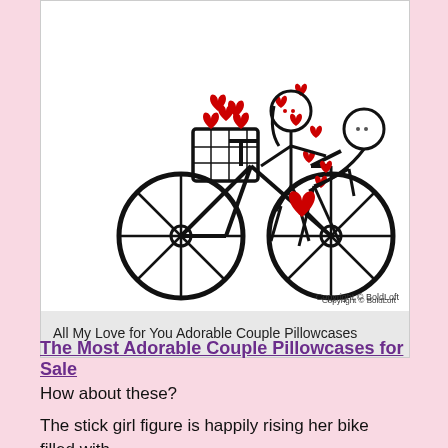[Figure (illustration): Stick figure girl riding a bicycle with a basket full of red hearts, hearts floating in the air toward a stick figure person on the right who is bent over catching a heart. Copyright © BoldLoft watermark at bottom right.]
All My Love for You Adorable Couple Pillowcases
The Most Adorable Couple Pillowcases for Sale
How about these?
The stick girl figure is happily rising her bike filled with red hearts on her rear basket and she has so much love